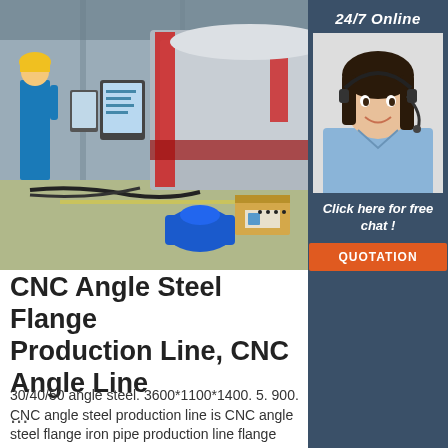[Figure (photo): Factory floor showing CNC angle steel flange production line machinery with red and white equipment, workers in blue shirts, digital control panels, cables and a cardboard box visible.]
[Figure (photo): Customer service agent — smiling woman with dark hair wearing a headset, shirt light blue, with '24/7 Online' label above and 'Click here for free chat!' text below, and an orange QUOTATION button.]
CNC Angle Steel Flange Production Line, CNC Angle Line ...
30/40/50 angle steel. 3600*1100*1400. 5. 900. CNC angle steel production line is CNC angle steel flange iron pipe production line flange